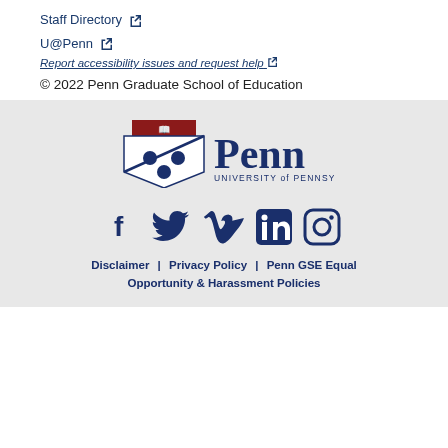Staff Directory ↗
U@Penn ↗
Report accessibility issues and request help ↗
© 2022 Penn Graduate School of Education
[Figure (logo): University of Pennsylvania shield logo with 'Penn University of Pennsylvania' text]
[Figure (infographic): Social media icons: Facebook, Twitter, Vimeo, LinkedIn, Instagram in dark navy blue]
Disclaimer  |  Privacy Policy  |  Penn GSE Equal Opportunity & Harassment Policies